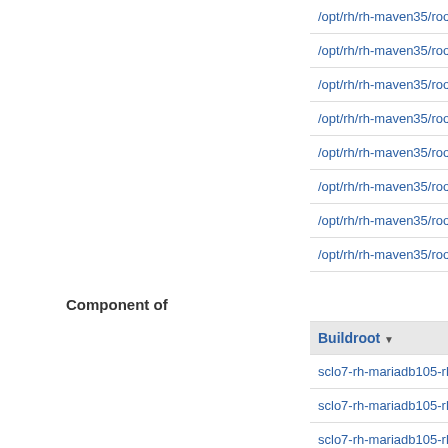| Path |
| --- |
| /opt/rh/rh-maven35/root/usr/lib |
| /opt/rh/rh-maven35/root/usr/lib/python2.7 |
| /opt/rh/rh-maven35/root/usr/lib/python2.7/site-packages |
| /opt/rh/rh-maven35/root/usr/lib64 |
| /opt/rh/rh-maven35/root/usr/lib64/X11 |
| /opt/rh/rh-maven35/root/usr/lib64/games |
| /opt/rh/rh-maven35/root/usr/lib64/pm-utils |
| /opt/rh/rh-maven35/root/usr/lib64/pm-utils/module.d |
Component of
1 through 50 of 6
| Buildroot |
| --- |
| sclo7-rh-mariadb105-rh-el7-build-151732-943319 |
| sclo7-rh-mariadb105-rh-el7-build-151728-943319 |
| sclo7-rh-mariadb105-rh-el7-build-150794-940252 |
| sclo7-rh-mariadb105-rh-el7-build-133864-906376 |
| sclo7-rh-mariadb105-rh-el7-build-132519-903280 |
| sclo7-rh-mariadb105-rh-el7-build-129864-899770 |
| sclo7-rh-mariadb105-rh-el7-build-129735-898499 |